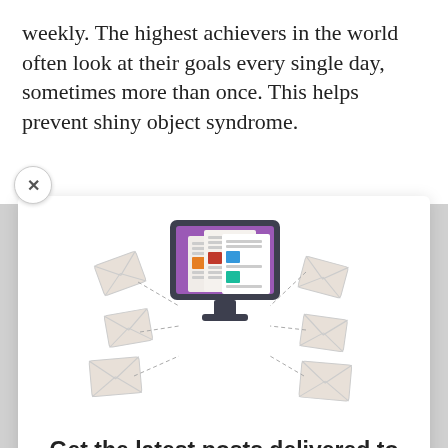weekly. The highest achievers in the world often look at their goals every single day, sometimes more than once. This helps prevent shiny object syndrome.
[Figure (illustration): Newsletter subscription illustration: a monitor with purple screen displaying news articles/documents, surrounded by flying envelope icons connected by dashed lines.]
Get the latest posts delivered to your inbox
Subscribe to receive the latest news and updates.